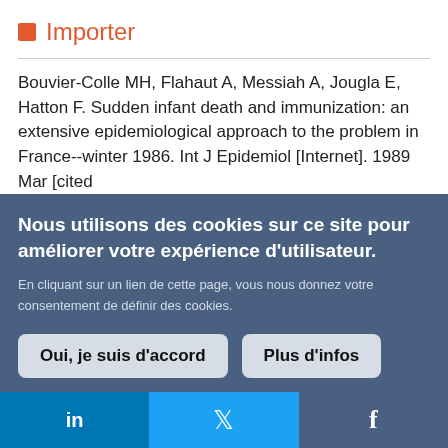Importer
Bouvier-Colle MH, Flahaut A, Messiah A, Jougla E, Hatton F. Sudden infant death and immunization: an extensive epidemiological approach to the problem in France--winter 1986. Int J Epidemiol [Internet]. 1989 Mar [cited
Nous utilisons des cookies sur ce site pour améliorer votre expérience d'utilisateur. En cliquant sur un lien de cette page, vous nous donnez votre consentement de définir des cookies.
Oui, je suis d'accord | Plus d'infos